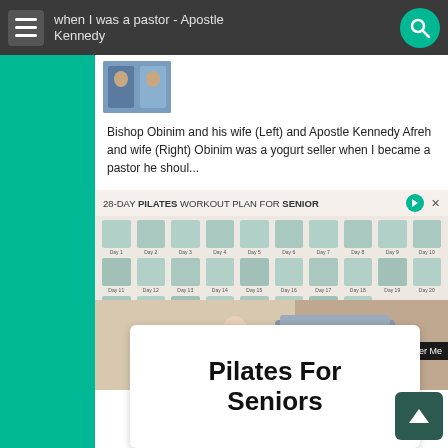when I was a pastor - Apostle Kennedy
Bishop Obinim and his wife (Left) and Apostle Kennedy Afreh and wife (Right) Obinim was a yogurt seller when I became a pastor he shoul...
[Figure (screenshot): 28-Day Pilates Workout Plan for Seniors advertisement showing exercise grid and elderly woman doing pilates with Better Me badge]
Pilates For Seniors